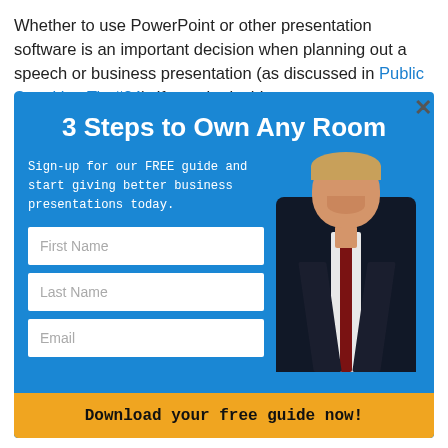Whether to use PowerPoint or other presentation software is an important decision when planning out a speech or business presentation (as discussed in Public Speaking Tip #24). If you do decide to create presentation slides make
[Figure (screenshot): Blue modal popup overlay titled '3 Steps to Own Any Room' with a sign-up form for a free guide, featuring fields for First Name, Last Name, Email, a photo of a smiling man in a suit, and an orange 'Download your free guide now!' button.]